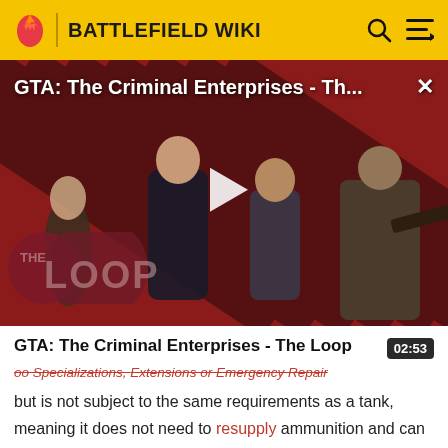BATTLEFIELD WIKI
[Figure (screenshot): Video thumbnail showing GTA: The Criminal Enterprises - The Loop with game characters on a red diagonal stripe background. A play button is centered. 'THE LOOP' logo overlaid at bottom left. An X close button at top right.]
GTA: The Criminal Enterprises - The Loop
02:53
oo Specializations, Extensions or Emergency Repair
but is not subject to the same requirements as a tank, meaning it does not need to resupply ammunition and can self-repair itself to full health. The T48 GMC is therefore